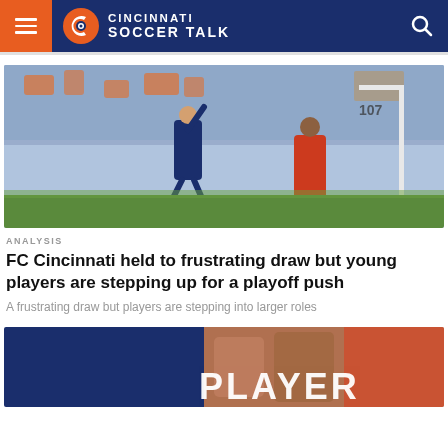Cincinnati Soccer Talk
[Figure (photo): Soccer match photo showing a player in dark uniform jumping with arm raised, and an opposing player in orange uniform, crowd in background]
ANALYSIS
FC Cincinnati held to frustrating draw but young players are stepping up for a playoff push
A frustrating draw but players are stepping into larger roles
[Figure (photo): Partially visible photo showing players and text PLAYER on blue and orange background]